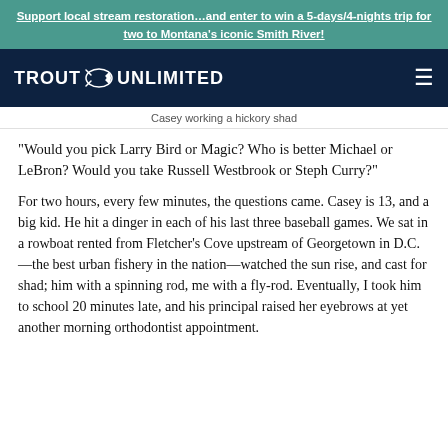Support local stream restoration...and enter to win a 5-days/4-nights trip for two to Montana's iconic Smith River!
[Figure (logo): Trout Unlimited logo with fish icon on dark navy background, with hamburger menu icon on right]
Casey working a hickory shad
“Would you pick Larry Bird or Magic? Who is better Michael or LeBron? Would you take Russell Westbrook or Steph Curry?”
For two hours, every few minutes, the questions came. Casey is 13, and a big kid. He hit a dinger in each of his last three baseball games. We sat in a rowboat rented from Fletcher’s Cove upstream of Georgetown in D.C.—the best urban fishery in the nation—watched the sun rise, and cast for shad; him with a spinning rod, me with a fly-rod. Eventually, I took him to school 20 minutes late, and his principal raised her eyebrows at yet another morning orthodontist appointment.